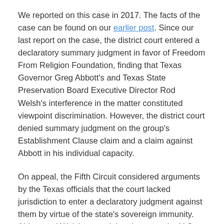We reported on this case in 2017.  The facts of the case can be found on our earlier post.  Since our last report on the case, the district court entered a declaratory summary judgment in favor of Freedom From Religion Foundation, finding that Texas Governor Greg Abbott's and Texas State Preservation Board Executive Director Rod Welsh's interference in the matter constituted viewpoint discrimination.  However, the district court denied summary judgment on the group's Establishment Clause claim and a claim against Abbott in his individual capacity.
On appeal, the Fifth Circuit considered arguments by the Texas officials that the court lacked jurisdiction to enter a declaratory judgment against them by virtue of the state's sovereign immunity.  Abbott and Welsh argued that, because the U.S. Supreme Court's decision in Matal